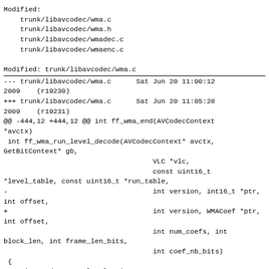Modified:
    trunk/libavcodec/wma.c
    trunk/libavcodec/wma.h
    trunk/libavcodec/wmadec.c
    trunk/libavcodec/wmaenc.c
Modified: trunk/libavcodec/wma.c
======================================================================
--- trunk/libavcodec/wma.c      Sat Jun 20 11:00:12 2009    (r19230)
+++ trunk/libavcodec/wma.c      Sat Jun 20 11:05:28 2009    (r19231)
@@ -444,12 +444,12 @@ int ff_wma_end(AVCodecContext *avctx)
 int ff_wma_run_level_decode(AVCodecContext* avctx, GetBitContext* gb,
                                         VLC *vlc,
                                         const uint16_t
*level_table, const uint16_t *run_table,
-                                        int version, int16_t *ptr, int offset,
+                                        int version, WMACoef *ptr, int offset,
                                         int num_coefs, int block_len, int frame_len_bits,
                                         int coef_nb_bits)
 {
     int code, run, level, sign;
-    int16_t* eptr = ptr + num_coefs;
+    WMACoef* eptr = ptr + num_coefs;